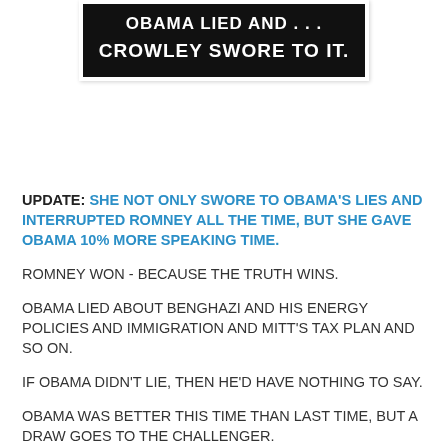[Figure (photo): Black background image with white bold text reading 'OBAMA LIED AND . . . CROWLEY SWORE TO IT.']
UPDATE: SHE NOT ONLY SWORE TO OBAMA'S LIES AND INTERRUPTED ROMNEY ALL THE TIME, BUT SHE GAVE OBAMA 10% MORE SPEAKING TIME.
ROMNEY WON - BECAUSE THE TRUTH WINS.
OBAMA LIED ABOUT BENGHAZI AND HIS ENERGY POLICIES AND IMMIGRATION AND MITT'S TAX PLAN AND SO ON.
IF OBAMA DIDN'T LIE, THEN HE'D HAVE NOTHING TO SAY.
OBAMA WAS BETTER THIS TIME THAN LAST TIME, BUT A DRAW GOES TO THE CHALLENGER.